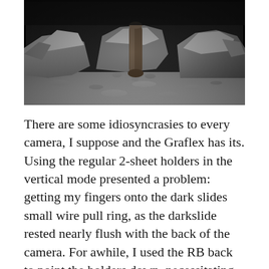[Figure (photo): Black and white photograph showing rocky terrain with a large stone or log balanced among rocks and debris, landscape orientation, dark border around image.]
There are some idiosyncrasies to every camera, I suppose and the Graflex has its. Using the regular 2-sheet holders in the vertical mode presented a problem: getting my fingers onto the dark slides small wire pull ring, as the darkslide rested nearly flush with the back of the camera. For awhile, I used the RB back to point the holders down, necessitating pulling the slide from underneath the camera and that was awkward, especially on a tripod. So I bent a stiff wire with curved hooks on both ends and carried that in my pocket. I was able to hook